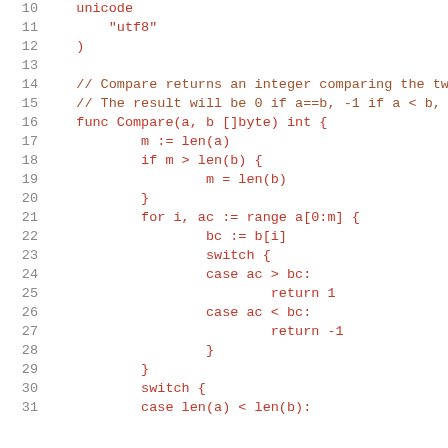10   unicode
11       "utf8"
12   )
13   
14   // Compare returns an integer comparing the two
15   // The result will be 0 if a==b, -1 if a < b, a
16   func Compare(a, b []byte) int {
17           m := len(a)
18           if m > len(b) {
19                   m = len(b)
20           }
21           for i, ac := range a[0:m] {
22                   bc := b[i]
23                   switch {
24                   case ac > bc:
25                           return 1
26                   case ac < bc:
27                           return -1
28                   }
29           }
30           switch {
31           case len(a) < len(b):